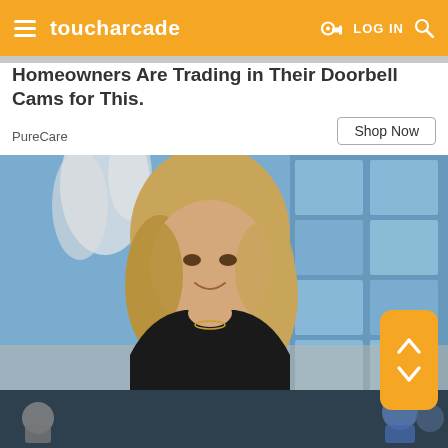toucharcade — LOG IN
Homeowners Are Trading in Their Doorbell Cams for This.
PureCare
Shop Now
[Figure (photo): A blonde woman in a black outfit sits on a light-colored couch, chin resting on her hand, smiling slightly. Background shows a blue stylized window pattern and a white sculptural plant decoration.]
[Figure (infographic): Orange rounded rectangle scroll buttons with up and down chevron arrows.]
[Figure (photo): Bottom advertisement banner for GUNSHIP BATTLE x G.I. JOE, showing armored figures on a dark teal background.]